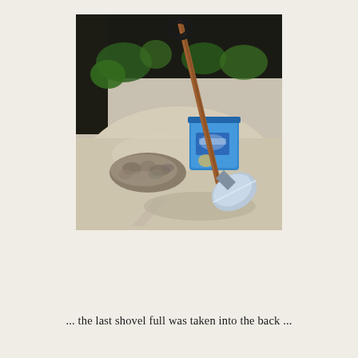[Figure (photo): A shovel leaning against a blue bucket on a sandy/concrete surface, with a pile of rocks/gravel beside it and green plants in the dark background.]
... the last shovel full was taken into the back ...